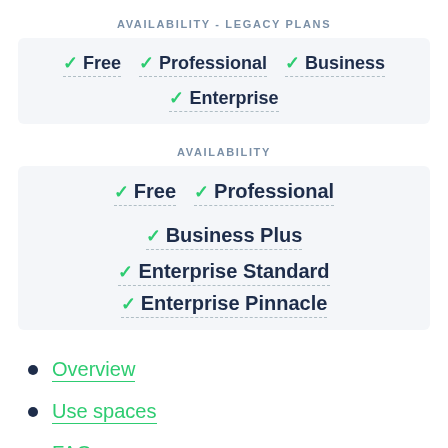AVAILABILITY - LEGACY PLANS
✓ Free  ✓ Professional  ✓ Business  ✓ Enterprise
AVAILABILITY
✓ Free  ✓ Professional  ✓ Business Plus  ✓ Enterprise Standard  ✓ Enterprise Pinnacle
Overview
Use spaces
FAQ